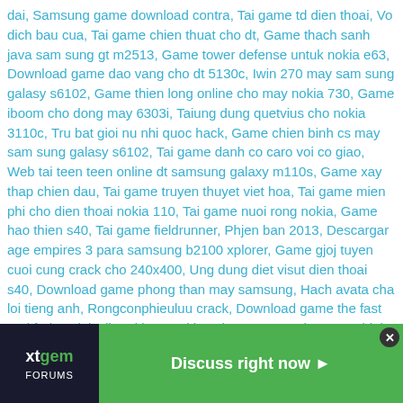dai, Samsung game download contra, Tai game td dien thoai, Vo dich bau cua, Tai game chien thuat cho dt, Game thach sanh java sam sung gt m2513, Game tower defense untuk nokia e63, Download game dao vang cho dt 5130c, Iwin 270 may sam sung galasy s6102, Game thien long online cho may nokia 730, Game iboom cho dong may 6303i, Taiung dung quetvius cho nokia 3110c, Tru bat gioi nu nhi quoc hack, Game chien binh cs may sam sung galasy s6102, Tai game danh co caro voi co giao, Web tai teen teen online dt samsung galaxy m110s, Game xay thap chien dau, Tai game truyen thuyet viet hoa, Tai game mien phi cho dien thoai nokia 110, Tai game nuoi rong nokia, Game hao thien s40, Tai game fieldrunner, Phjen ban 2013, Descargar age empires 3 para samsung b2100 xplorer, Game gjoj tuyen cuoi cung crack cho 240x400, Ung dung diet visut dien thoai s40, Download game phong than may samsung, Hach avata cha loi tieng anh, Rongconphieuluu crack, Download game the fast and forius pink slip 3d buat nokia asha 200, Ung dung xem hinh tren dt, Game dua xe moto gp09, Tai avatar tu cham soc gt y5360, Tai game tay du ky online samsung gt e1390, Dowload game ban tank full crack cho mobie, Tai game kim long, Tai game green farm viet hoa cracl, Blue ftp dt, Tai tra chanh quoan cho may sky, Dowload phan mem facebook cho nokia n73, Super mario games c3322 320x240, Gamesupperhero, Game bo doi thung mh 128x160, Game chien thuat viet hoa 320x240 tower defense, Game kim cuong cho dien thoai samsung thuong, Army mod hack v5, Tai game bom cho nokia 112 crack, Tai game ninja rua danh cho dien thoai nokia, Tai game tru than man hinh 320x240 cho dien thoai, Game chim bi bi com, Taigametauchien, C5 00 nokia antivirus kaspersky, Tai mobile diet anvirut may nokia x6 00, Game robodef cho nokia 6590, Game bva 7897b w... 7b cho android, Ftp ... n luoc phong thu ch... e download sony ericsson j20i, Tai game crack 3d tieng viet, Doc file doc tren nokia, Tai game
[Figure (other): xtgem forums advertisement banner with logo on left and green 'Discuss right now' button on right, with close (x) button]